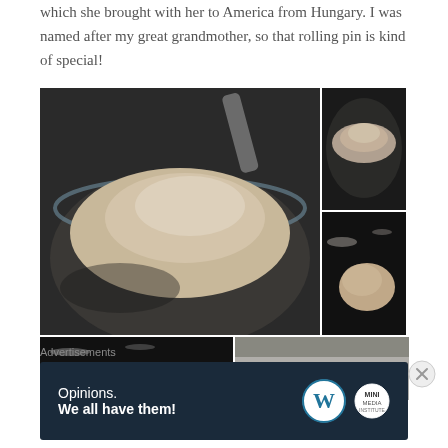which she brought with her to America from Hungary. I was named after my great grandmother, so that rolling pin is kind of special!
[Figure (photo): A collage of five food preparation photos showing dough and flour in a glass bowl, a dough ball, dough pieces on a floured dark surface, and a rolling pin on a light surface.]
Advertisements
[Figure (infographic): Advertisement banner with dark navy background reading 'Opinions. We all have them!' with WordPress logo and another circular logo on the right.]